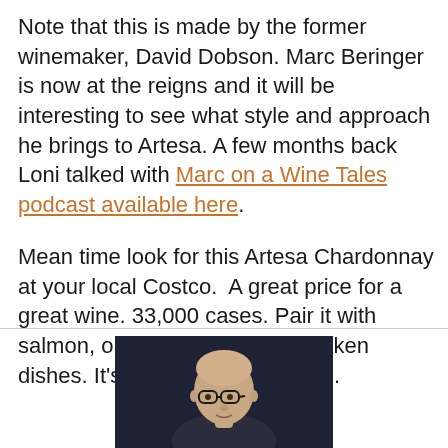Note that this is made by the former winemaker, David Dobson. Marc Beringer is now at the reigns and it will be interesting to see what style and approach he brings to Artesa. A few months back Loni talked with Marc on a Wine Tales podcast available here.
Mean time look for this Artesa Chardonnay at your local Costco. A great price for a great wine. 33,000 cases. Pair it with salmon, or strongly flavored chicken dishes. It's not a light, fruity wine.
[Figure (photo): Portrait photo of a bald man with glasses, dark background]